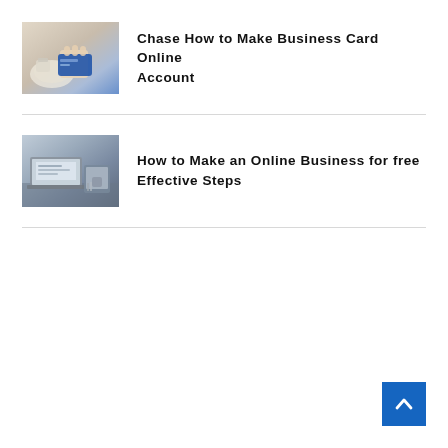[Figure (photo): Thumbnail image of a hand holding a blue credit card near a plate with a cup, blurred background]
Chase How to Make Business Card Online Account
[Figure (photo): Thumbnail image of laptops and tablets on a desk with office items, blurred background]
How to Make an Online Business for free Effective Steps